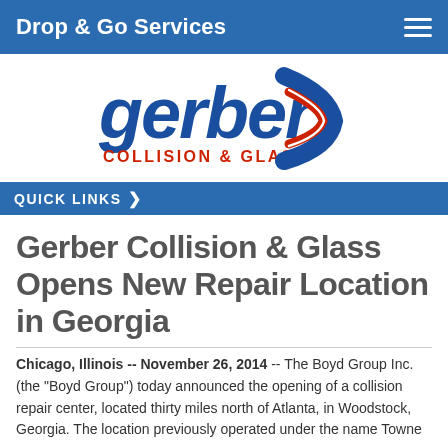Drop & Go Services
[Figure (logo): Gerber Collision & Glass logo — stylized blue 'gerber' wordmark with red and blue swoosh chevron, 'COLLISION & GLASS' in red text below]
QUICK LINKS ❯
Gerber Collision & Glass Opens New Repair Location in Georgia
Chicago, Illinois -- November 26, 2014 -- The Boyd Group Inc. (the "Boyd Group") today announced the opening of a collision repair center, located thirty miles north of Atlanta, in Woodstock, Georgia. The location previously operated under the name Towne...